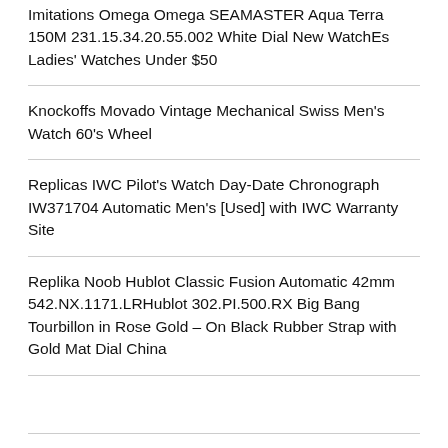Imitations Omega Omega SEAMASTER Aqua Terra 150M 231.15.34.20.55.002 White Dial New WatchEs Ladies' Watches Under $50
Knockoffs Movado Vintage Mechanical Swiss Men's Watch 60's Wheel
Replicas IWC Pilot's Watch Day-Date Chronograph IW371704 Automatic Men's [Used] with IWC Warranty Site
Replika Noob Hublot Classic Fusion Automatic 42mm 542.NX.1171.LRHublot 302.PI.500.RX Big Bang Tourbillon in Rose Gold – On Black Rubber Strap with Gold Mat Dial China